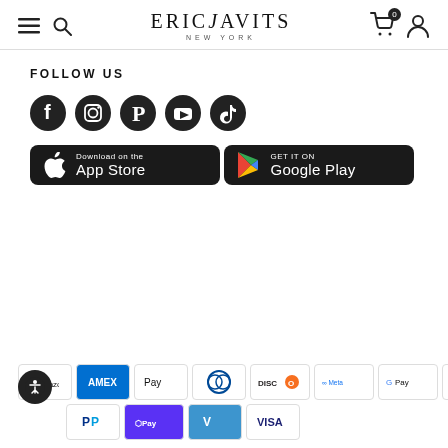Eric Javits New York
FOLLOW US
[Figure (logo): Social media icons: Facebook, Instagram, Pinterest, YouTube, TikTok]
[Figure (logo): Download on the App Store button]
[Figure (logo): Get it on Google Play button]
[Figure (logo): Payment method icons: Amazon, Amex, Apple Pay, Diners Club, Discover, Meta Pay, Google Pay, Mastercard, PayPal, Shop Pay, Venmo, Visa]